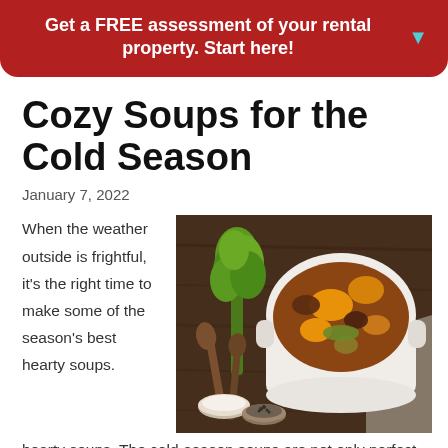Get a FREE assessment of your rental property. Start here!
Cozy Soups for the Cold Season
January 7, 2022
When the weather outside is frightful, it's the right time to make some of the season's best hearty soups. The cold-season soups are not only perfect for
[Figure (photo): Overhead view of a white ceramic pot filled with hearty beef and vegetable stew, surrounded by fresh herbs, wooden spoons, and small bowls of salt and pepper on a dark wooden surface.]